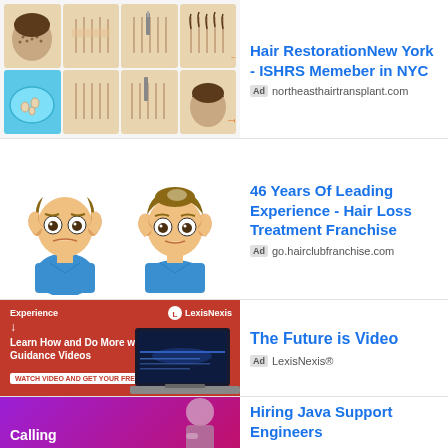[Figure (screenshot): Hair transplant procedure steps shown in a 2x4 grid of illustrations]
Hair RestorationNew York - ISHRS Memeber in NYC
Ad  northeasthairtransplant.com
[Figure (illustration): Two cartoon men touching their heads - one bald, one with hair restored]
46 Years Of Leading Experience - Hair Loss Treatment Franchise
Ad  go.hairclubfranchise.com
[Figure (screenshot): LexisNexis red advertisement with laptop image. Text: Experience, Learn How and Do More with Practical Guidance Videos]
The Future is Video
Ad  LexisNexis®
[Figure (screenshot): Purple/pink gradient advertisement with man thinking. Text: Calling]
Hiring Java Support Engineers